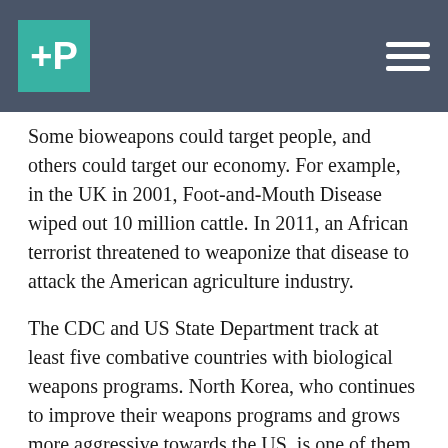P [logo] [menu]
Some bioweapons could target people, and others could target our economy. For example, in the UK in 2001, Foot-and-Mouth Disease wiped out 10 million cattle. In 2011, an African terrorist threatened to weaponize that disease to attack the American agriculture industry.
The CDC and US State Department track at least five combative countries with biological weapons programs. North Korea, who continues to improve their weapons programs and grows more aggressive towards the US, is one of them.
Steven Block, professor of biological sciences at Stanford, warns: “Simply put, smallpox represents a direct threat to the entire world. We’re tempted to say that nobody in their right mind would ever use these things, but not everybody is in their right mind!”